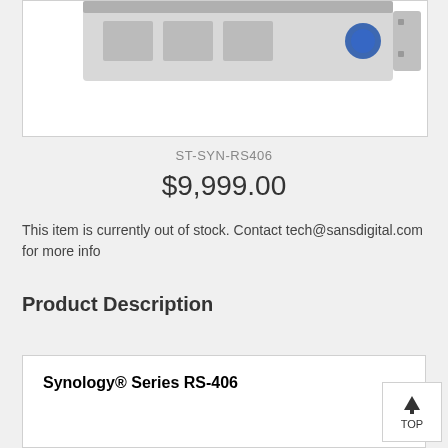[Figure (photo): Product image of Synology RS-406 rack-mounted NAS device, partially visible at top of white box]
ST-SYN-RS406
$9,999.00
This item is currently out of stock. Contact tech@sansdigital.com for more info
Product Description
Synology® Series RS-406